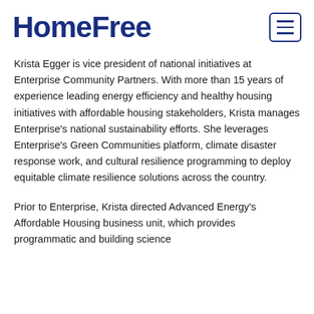HomeFree
Krista Egger is vice president of national initiatives at Enterprise Community Partners. With more than 15 years of experience leading energy efficiency and healthy housing initiatives with affordable housing stakeholders, Krista manages Enterprise's national sustainability efforts. She leverages Enterprise's Green Communities platform, climate disaster response work, and cultural resilience programming to deploy equitable climate resilience solutions across the country.
Prior to Enterprise, Krista directed Advanced Energy's Affordable Housing business unit, which provides programmatic and building science